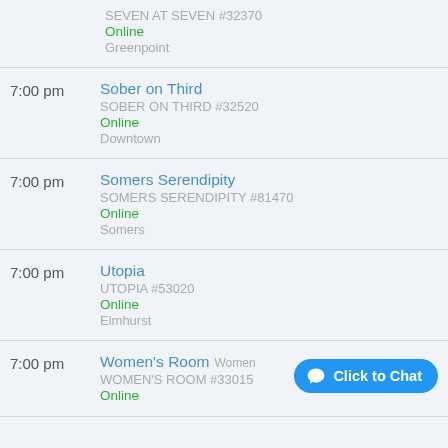SEVEN AT SEVEN #32370 | Online | Greenpoint
7:00 pm | Sober on Third | SOBER ON THIRD #32520 | Online | Downtown
7:00 pm | Somers Serendipity | SOMERS SERENDIPITY #81470 | Online | Somers
7:00 pm | Utopia | UTOPIA #53020 | Online | Elmhurst
7:00 pm | Women's Room Women | WOMEN'S ROOM #33015 | Online